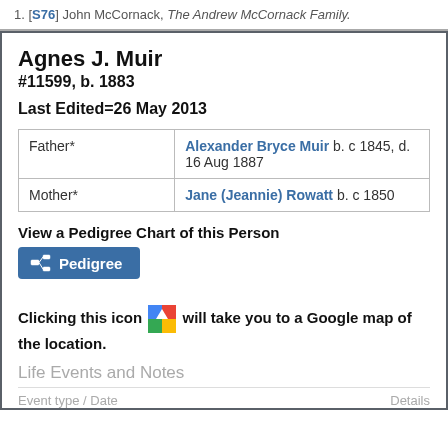1. [S76] John McCornack, The Andrew McCornack Family.
Agnes J. Muir
#11599, b. 1883
Last Edited=26 May 2013
|  |  |
| --- | --- |
| Father* | Alexander Bryce Muir b. c 1845, d. 16 Aug 1887 |
| Mother* | Jane (Jeannie) Rowatt b. c 1850 |
View a Pedigree Chart of this Person
[Figure (other): Pedigree button]
Clicking this icon [Google Maps icon] will take you to a Google map of the location.
Life Events and Notes